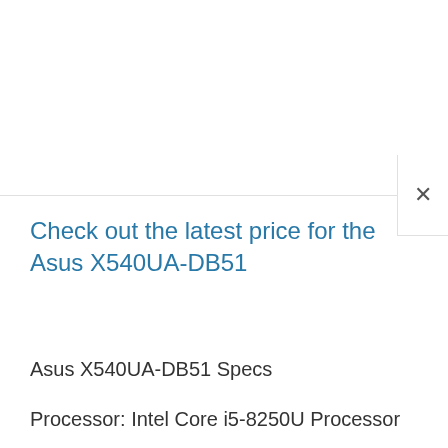[Figure (screenshot): Top portion of a webpage showing a header bar and a close (X) button on the right side panel]
Check out the latest price for the Asus X540UA-DB51
Asus X540UA-DB51 Specs
Processor: Intel Core i5-8250U Processor